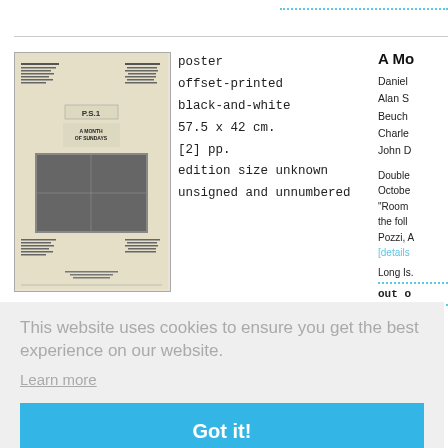[Figure (photo): Thumbnail image of a black-and-white PS1 event poster titled 'A Month of Sundays']
poster
offset-printed
black-and-white
57.5 x 42 cm.
[2] pp.
edition size unknown
unsigned and unnumbered
A Mo...
Daniel...
Alan S...
Beuch...
Charle...
John D...
Double...
Octobe...
"Room...
the foll...
Pozzi, A...
[details...]
Long Is...
out o...
This website uses cookies to ensure you get the best experience on our website.
Learn more
Got it!